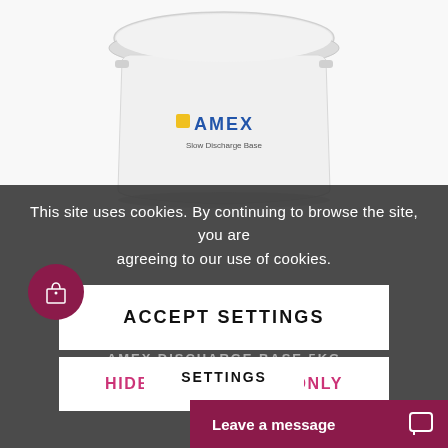[Figure (photo): White plastic bucket/pail with AMEX logo and 'Slow Discharge Base' label on it, shown from above on white background]
This site uses cookies. By continuing to browse the site, you are agreeing to our use of cookies.
ACCEPT SETTINGS
HIDE NOTIFICATION ONLY
AMEX DISCHARGE BASE 5KG
SETTINGS
Leave a message